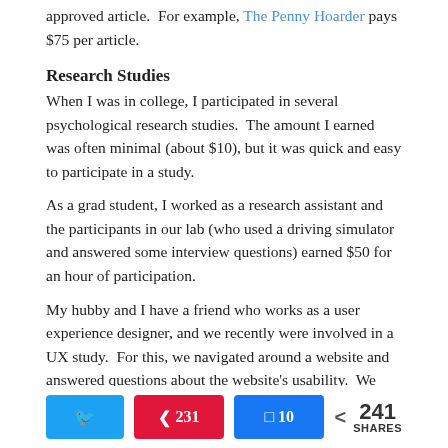approved article.  For example, The Penny Hoarder pays $75 per article.
Research Studies
When I was in college, I participated in several psychological research studies.  The amount I earned was often minimal (about $10), but it was quick and easy to participate in a study.
As a grad student, I worked as a research assistant and the participants in our lab (who used a driving simulator and answered some interview questions) earned $50 for an hour of participation.
My hubby and I have a friend who works as a user experience designer, and we recently were involved in a UX study.  For this, we navigated around a website and answered questions about the website's usability.  We received gift cards for our participation.
Twitter share | Pinterest 231 | Facebook 10 | 241 SHARES